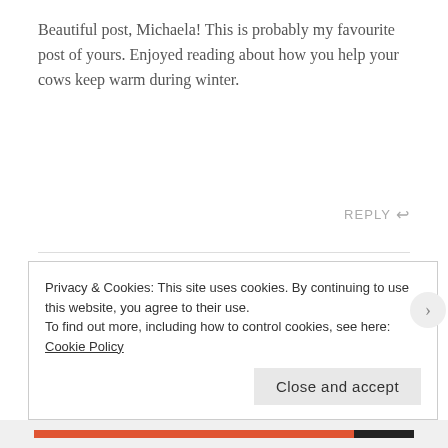Beautiful post, Michaela! This is probably my favourite post of yours. Enjoyed reading about how you help your cows keep warm during winter.
REPLY ↩
I'd love to hear from you! Leave your thoughts or comments here:
Your email address will not be published. Required
Privacy & Cookies: This site uses cookies. By continuing to use this website, you agree to their use.
To find out more, including how to control cookies, see here: Cookie Policy
Close and accept